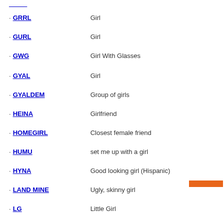GRRL - Girl
GURL - Girl
GWG - Girl With Glasses
GYAL - Girl
GYALDEM - Group of girls
HEINA - Girlfriend
HOMEGIRL - Closest female friend
HUMU - set me up with a girl
HYNA - Good looking girl (Hispanic)
LAND MINE - Ugly, skinny girl
LG - Little Girl